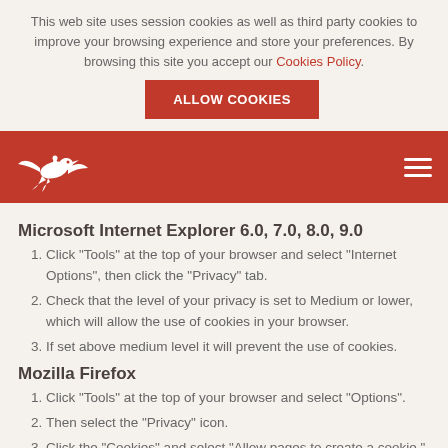This web site uses session cookies as well as third party cookies to improve your browsing experience and store your preferences. By browsing this site you accept our Cookies Policy.
[Figure (other): Red 'ALLOW COOKIES' button]
[Figure (logo): White bird/swallow logo on red navigation bar with hamburger menu icon]
Microsoft Internet Explorer 6.0, 7.0, 8.0, 9.0
Click "Tools" at the top of your browser and select "Internet Options", then click the "Privacy" tab.
Check that the level of your privacy is set to Medium or lower, which will allow the use of cookies in your browser.
If set above medium level it will prevent the use of cookies.
Mozilla Firefox
Click "Tools" at the top of your browser and select "Options".
Then select the "Privacy" icon.
Click the "Cookies" and select "Allow pages to create a cookie."
Safari
Click the gear icon at the top of your browser and select